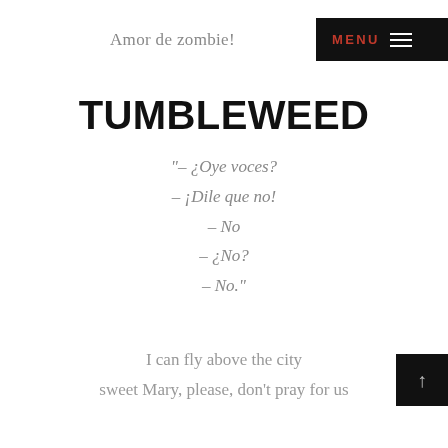Amor de zombie!
TUMBLEWEED
“– ¿Oye voces?
– ¡Dile que no!
– No
– ¿No?
– No.”
I can fly above the city
sweet Mary, please, don't pray for us